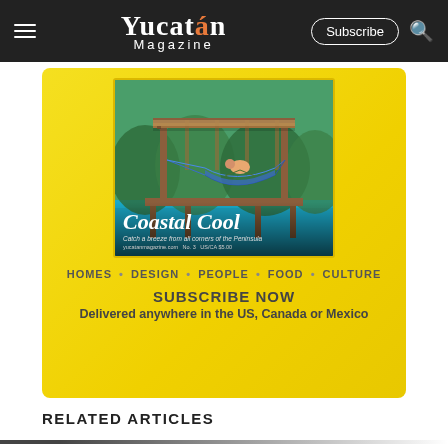Yucatán Magazine — Subscribe
[Figure (illustration): Yellow advertisement block for Yucatán Magazine showing a magazine cover with someone relaxing in a hammock under a wooden pergola over water, with text 'Coastal Cool — Catch a breeze from all corners of the Peninsula'. Below the cover image: HOMES • DESIGN • PEOPLE • FOOD • CULTURE, then SUBSCRIBE NOW, Delivered anywhere in the US, Canada or Mexico.]
RELATED ARTICLES